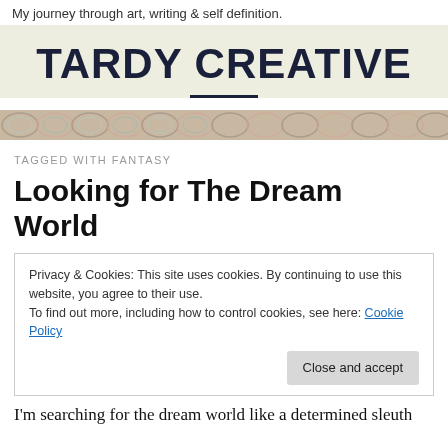My journey through art, writing & self definition.
TARDY CREATIVE
[Figure (illustration): Decorative strip with abstract swirling feather/shell pattern in muted tones of pink, teal, and beige]
TAGGED WITH FANTASY
Looking for The Dream World
Privacy & Cookies: This site uses cookies. By continuing to use this website, you agree to their use.
To find out more, including how to control cookies, see here: Cookie Policy
[Close and accept]
I'm searching for the dream world like a determined sleuth